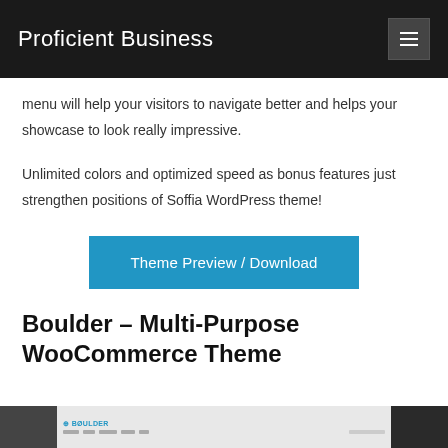Proficient Business
menu will help your visitors to navigate better and helps your showcase to look really impressive.
Unlimited colors and optimized speed as bonus features just strengthen positions of Soffia WordPress theme!
[Figure (other): Blue button labeled 'Theme Preview / Download']
Boulder – Multi-Purpose WooCommerce Theme
[Figure (screenshot): Partial screenshot of the Boulder WordPress theme website preview]